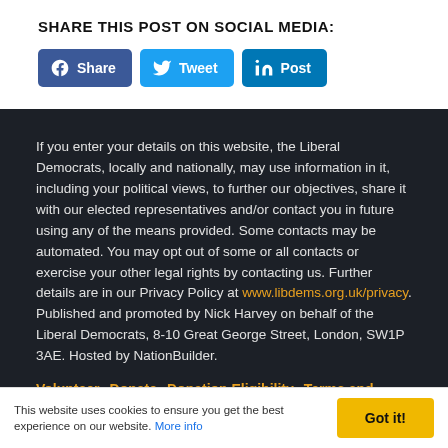SHARE THIS POST ON SOCIAL MEDIA:
[Figure (infographic): Three social media share buttons: Facebook Share (blue), Twitter Tweet (light blue), LinkedIn Post (dark blue)]
If you enter your details on this website, the Liberal Democrats, locally and nationally, may use information in it, including your political views, to further our objectives, share it with our elected representatives and/or contact you in future using any of the means provided. Some contacts may be automated. You may opt out of some or all contacts or exercise your other legal rights by contacting us. Further details are in our Privacy Policy at www.libdems.org.uk/privacy. Published and promoted by Nick Harvey on behalf of the Liberal Democrats, 8-10 Great George Street, London, SW1P 3AE. Hosted by NationBuilder.
Volunteer   Donate   Donation Eligibility   Terms and
This website uses cookies to ensure you get the best experience on our website. More info